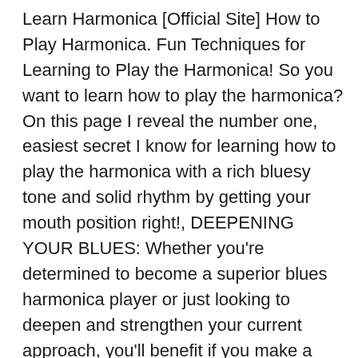Learn Harmonica [Official Site] How to Play Harmonica. Fun Techniques for Learning to Play the Harmonica! So you want to learn how to play the harmonica? On this page I reveal the number one, easiest secret I know for learning how to play the harmonica with a rich bluesy tone and solid rhythm by getting your mouth position right!, DEEPENING YOUR BLUES: Whether you're determined to become a superior blues harmonica player or just looking to deepen and strengthen your current approach, you'll benefit if you make a sincere effort to learn something about the people who invented the blues. Blues harmonica isn't just a matter of reeds, holes, bends, licks, bar, mics, and amps.